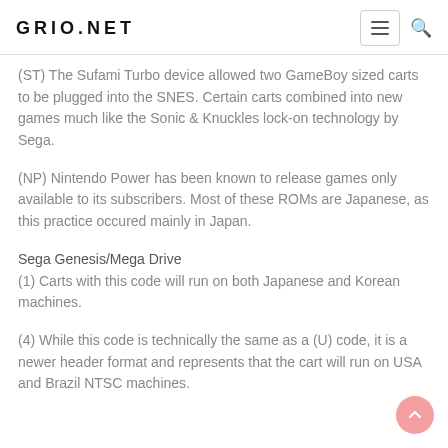GRIO.NET
(ST) The Sufami Turbo device allowed two GameBoy sized carts to be plugged into the SNES. Certain carts combined into new games much like the Sonic & Knuckles lock-on technology by Sega.
(NP) Nintendo Power has been known to release games only available to its subscribers. Most of these ROMs are Japanese, as this practice occured mainly in Japan.
Sega Genesis/Mega Drive
(1) Carts with this code will run on both Japanese and Korean machines.
(4) While this code is technically the same as a (U) code, it is a newer header format and represents that the cart will run on USA and Brazil NTSC machines.